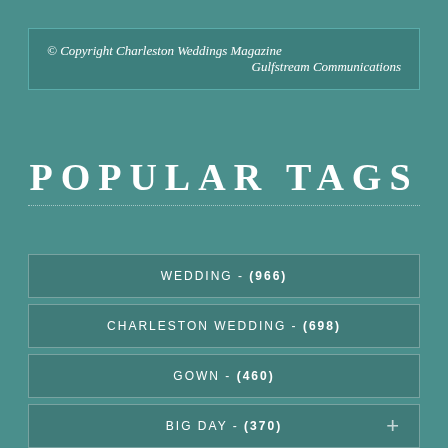© Copyright Charleston Weddings Magazine
Gulfstream Communications
POPULAR TAGS
WEDDING - (966)
CHARLESTON WEDDING - (698)
GOWN - (460)
BIG DAY - (370)
WEDDINGS - (332)